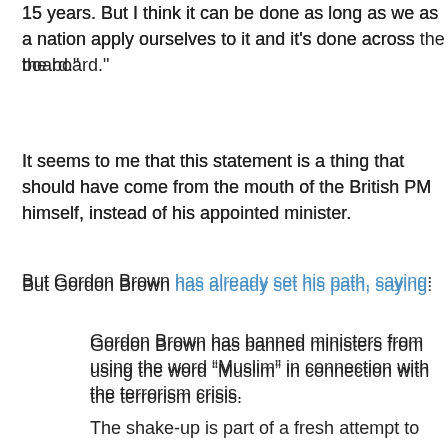15 years. But I think it can be done as long as we as a nation apply ourselves to it and it's done across the board."
It seems to me that this statement is a thing that should have come from the mouth of the British PM himself, instead of his appointed minister.
But Gordon Brown has already set his path, saying:
Gordon Brown has banned ministers from using the word “Muslim” in connection with the terrorism crisis.
The Prime Minister has also instructed his team – including new Home Secretary Jacqui Smith – that the phrase “war on terror” is to be dropped.
The shake-up is part of a fresh attempt to